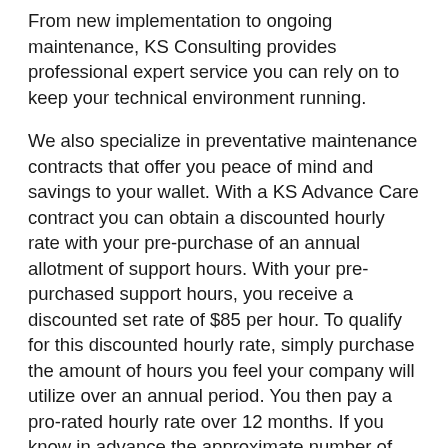From new implementation to ongoing maintenance, KS Consulting provides professional expert service you can rely on to keep your technical environment running.
We also specialize in preventative maintenance contracts that offer you peace of mind and savings to your wallet. With a KS Advance Care contract you can obtain a discounted hourly rate with your pre-purchase of an annual allotment of support hours. With your pre-purchased support hours, you receive a discounted set rate of $85 per hour. To qualify for this discounted hourly rate, simply purchase the amount of hours you feel your company will utilize over an annual period. You then pay a pro-rated hourly rate over 12 months. If you know in advance the approximate number of hours you normally utilize, this is your chance to save! We can even help you with your estimate. You can even purchase what you anticipate using, and then anything